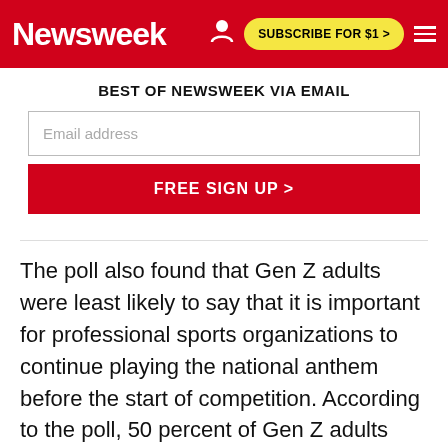Newsweek | SUBSCRIBE FOR $1 >
BEST OF NEWSWEEK VIA EMAIL
Email address
FREE SIGN UP >
The poll also found that Gen Z adults were least likely to say that it is important for professional sports organizations to continue playing the national anthem before the start of competition. According to the poll, 50 percent of Gen Z adults said it was 'important,' with 'very important' and 'somewhat important' both